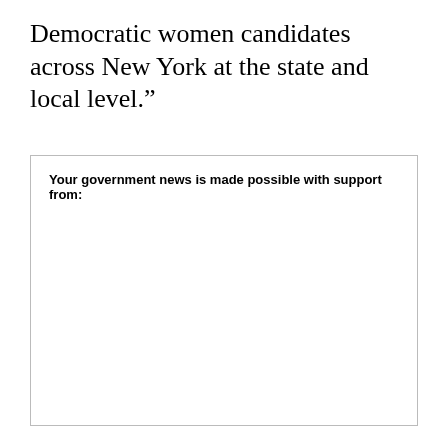Democratic women candidates across New York at the state and local level.”
Your government news is made possible with support from: